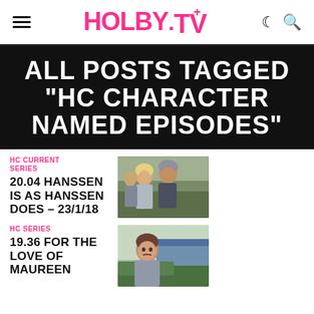HOLBY.TV
ALL POSTS TAGGED "HC CHARACTER NAMED EPISODES"
HC CURRENT SERIES
20.04 HANSSEN IS AS HANSSEN DOES – 23/1/18
[Figure (photo): Two people standing outdoors, a blonde woman and a man with grey curly hair]
HC SERIES
19.36 FOR THE LOVE OF MAUREEN
[Figure (photo): A woman with brown hair standing outdoors looking concerned]